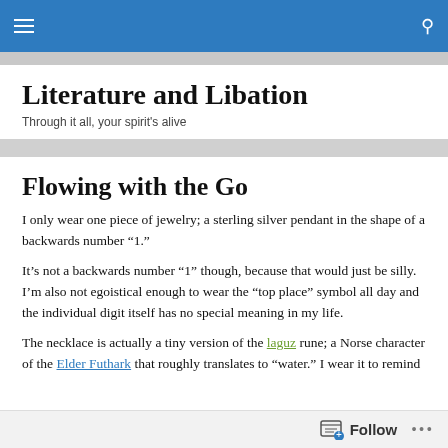Literature and Libation — navigation bar
Literature and Libation
Through it all, your spirit's alive
Flowing with the Go
I only wear one piece of jewelry; a sterling silver pendant in the shape of a backwards number “1.”
It’s not a backwards number “1” though, because that would just be silly. I’m also not egoistical enough to wear the “top place” symbol all day and the individual digit itself has no special meaning in my life.
The necklace is actually a tiny version of the laguz rune; a Norse character of the Elder Futhark that roughly translates to “water.” I wear it to remind
Follow